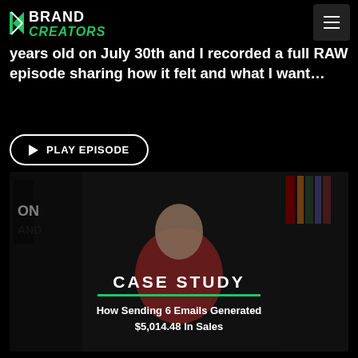Brand Creators
years old on July 30th and I recorded a full RAW episode sharing how it felt and what I want…
PLAY EPISODE
[Figure (photo): Video thumbnail showing a man in a red shirt in a studio/podcast setting with text overlay: CASE STUDY - How Sending 6 Emails Generated $5,014.48 In Sales]